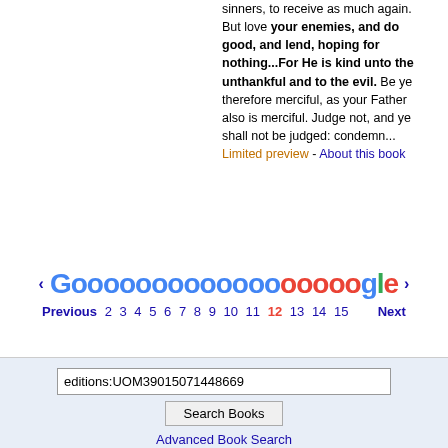sinners, to receive as much again. But love your enemies, and do good, and lend, hoping for nothing...For He is kind unto the unthankful and to the evil. Be ye therefore merciful, as your Father also is merciful. Judge not, and ye shall not be judged: condemn... Limited preview - About this book
< Goooooooooooooooogle > Previous 2 3 4 5 6 7 8 9 10 11 12 13 14 15 Next
editions:UOM39015071448669 Search Books Advanced Book Search